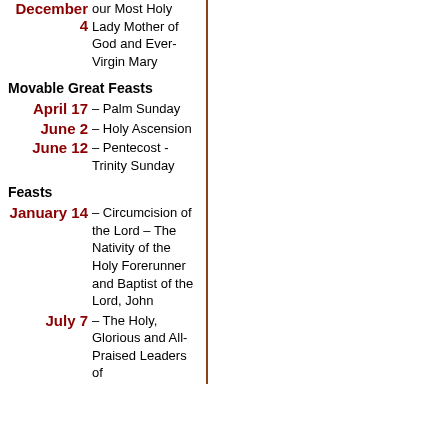December 4 – our Most Holy Lady Mother of God and Ever-Virgin Mary
Movable Great Feasts
April 17 – Palm Sunday
June 2 – Holy Ascension
June 12 – Pentecost - Trinity Sunday
Feasts
January 14 – Circumcision of the Lord – The Nativity of the Holy Forerunner and Baptist of the Lord, John
July 7 – The Holy, Glorious and All-Praised Leaders of...